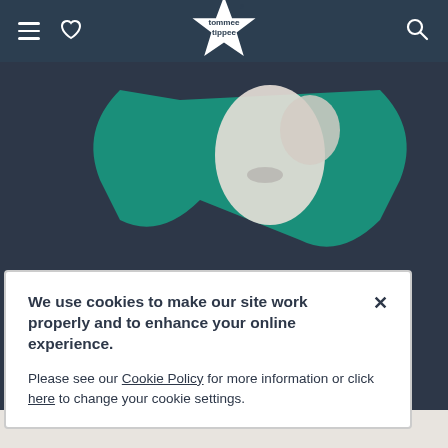tommee tippee
[Figure (photo): Tommee Tippee product photo showing a white baby item against a teal bowtie/holder shape on a dark navy background]
We use cookies to make our site work properly and to enhance your online experience.

Please see our Cookie Policy for more information or click here to change your cookie settings.